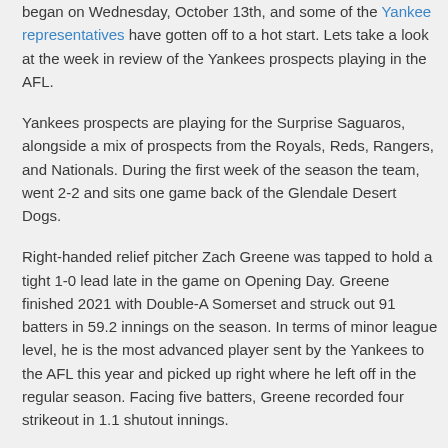began on Wednesday, October 13th, and some of the Yankee representatives have gotten off to a hot start. Lets take a look at the week in review of the Yankees prospects playing in the AFL.
Yankees prospects are playing for the Surprise Saguaros, alongside a mix of prospects from the Royals, Reds, Rangers, and Nationals. During the first week of the season the team, went 2-2 and sits one game back of the Glendale Desert Dogs.
Right-handed relief pitcher Zach Greene was tapped to hold a tight 1-0 lead late in the game on Opening Day. Greene finished 2021 with Double-A Somerset and struck out 91 batters in 59.2 innings on the season. In terms of minor league level, he is the most advanced player sent by the Yankees to the AFL this year and picked up right where he left off in the regular season. Facing five batters, Greene recorded four strikeout in 1.1 shutout innings.